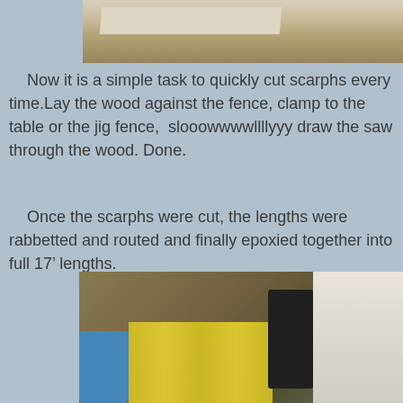[Figure (photo): Top portion of a photo showing a woodworking jig or fence setup on a table, partially cropped at top of page]
Now it is a simple task to quickly cut scarphs every time.Lay the wood against the fence, clamp to the table or the jig fence,  slooowwwwllllyyy draw the saw through the wood. Done.
Once the scarphs were cut, the lengths were rabbetted and routed and finally epoxied together into full 17' lengths.
[Figure (photo): Workshop photo showing long wooden strips laid out on a floor with clamps and tools, a blue barrel visible on the left, yellow strips of wood, dark machinery in center, and a white panel on the right]